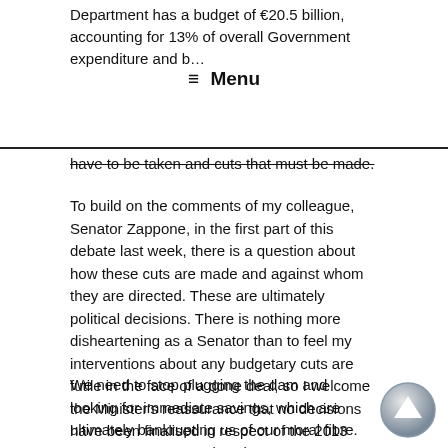Department has a budget of €20.5 billion, accounting for 13% of overall Government expenditure and b…
≡  Menu
have to be taken and cuts that must be made.
To build on the comments of my colleague, Senator Zappone, in the first part of this debate last week, there is a question about how these cuts are made and against whom they are directed. These are ultimately political decisions. There is nothing more disheartening as a Senator than to feel my interventions about any budgetary cuts are futile in the face of a done deal, so I welcome the Minister's reassurance that no decisions have been finalised in respect of the 2013 budget.
We need to stop plugging the dam and looking for immediate savings, which are ultimately bankrupting us of our moral fibre. As a Government and society we must